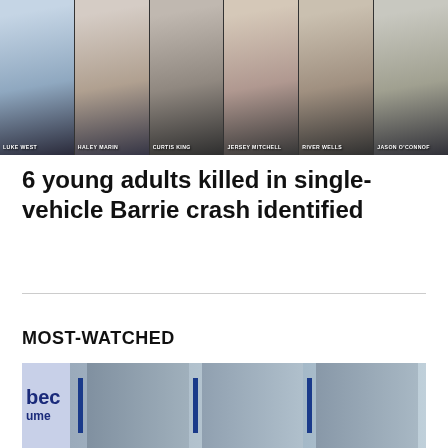[Figure (photo): Group of six young adult photos arranged side by side in a dark-background grid. Names overlaid: Luke West, Haley Marin, Curtis King, Jersey Mitchell, River Wells, Jason O'Connor]
6 young adults killed in single-vehicle Barrie crash identified
MOST-WATCHED
[Figure (photo): Outdoor press conference scene with people standing near Quebec (fleur-de-lis) flags. Partial text 'bec' and 'ume' visible on banner on left side.]